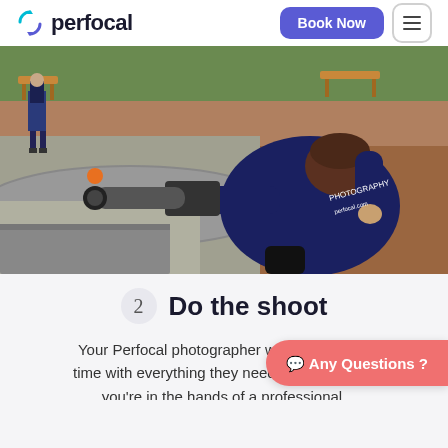[Figure (logo): Perfocal logo with circular arrow icon and wordmark 'perfocal']
Book Now
[Figure (photo): Female photographer crouching and pointing a large telephoto lens camera toward a garden scene with a stone-edged pool/fountain area. She wears a dark blue hoodie with 'PHOTOGRAPHY' and 'perfocal.com' text. Another person stands in background.]
2  Do the shoot
Your Perfocal photographer will be there on time with everything they need. Everything so you're in the hands of a professional.
💬 Any Questions ?